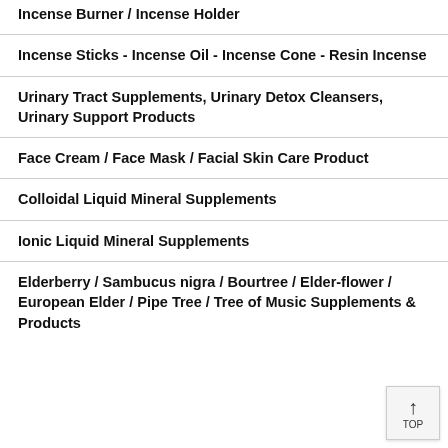Incense Burner / Incense Holder
Incense Sticks - Incense Oil - Incense Cone - Resin Incense
Urinary Tract Supplements, Urinary Detox Cleansers, Urinary Support Products
Face Cream / Face Mask / Facial Skin Care Product
Colloidal Liquid Mineral Supplements
Ionic Liquid Mineral Supplements
Elderberry / Sambucus nigra / Bourtree / Elder-flower / European Elder / Pipe Tree / Tree of Music Supplements & Products